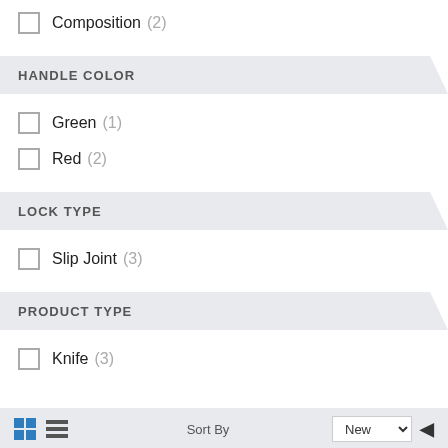Composition (2)
HANDLE COLOR
Green (1)
Red (2)
LOCK TYPE
Slip Joint (3)
PRODUCT TYPE
Knife (3)
Sort By   New